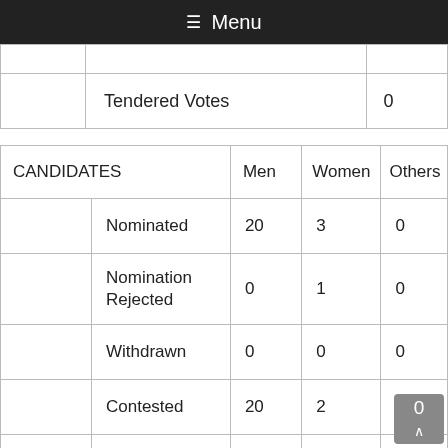Menu
|  | Tendered Votes | 0 |
| --- | --- | --- |
|  | Tendered Votes | 0 |
| CANDIDATES | Men | Women | Others |
| --- | --- | --- | --- |
| Nominated | 20 | 3 | 0 |
| Nomination Rejected | 0 | 1 | 0 |
| Withdrawn | 0 | 0 | 0 |
| Contested | 20 | 2 | 0 |
| Forfeited Deposit | 18 | 2 | 0 |
| ELECTORS | 0 | 0 | 0 |